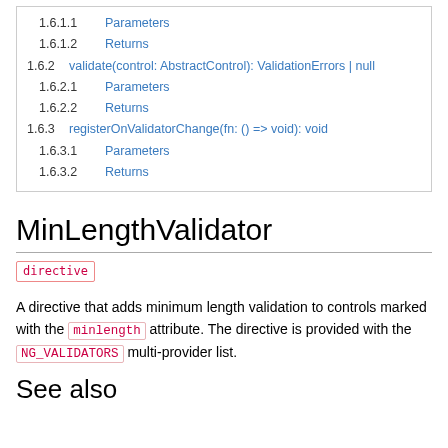1.6.1.1   Parameters
1.6.1.2   Returns
1.6.2   validate(control: AbstractControl): ValidationErrors | null
1.6.2.1   Parameters
1.6.2.2   Returns
1.6.3   registerOnValidatorChange(fn: () => void): void
1.6.3.1   Parameters
1.6.3.2   Returns
MinLengthValidator
directive
A directive that adds minimum length validation to controls marked with the minlength attribute. The directive is provided with the NG_VALIDATORS multi-provider list.
See also